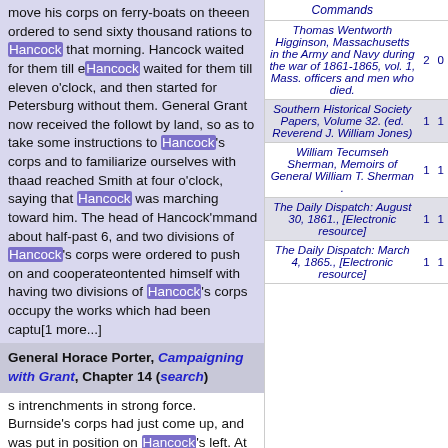move his corps on ferry-boats on theeen ordered to send sixty thousand rations to Hancock that morning. Hancock waited for them till eHancock waited for them till eleven o'clock, and then started for Petersburg without them. General Grant now received the followt by land, so as to take some instructions to Hancock's corps and to familiarize ourselves with thaad reached Smith at four o'clock, saying that Hancock was marching toward him. The head of Hancock'mmand about half-past 6, and two divisions of Hancock's corps were ordered to push on and cooperateontented himself with having two divisions of Hancock's corps occupy the works which had been captu[1 more...]
General Horace Porter, Campaigning with Grant, Chapter 14 (search)
s intrenchments in strong force. Burnside's corps had just come up, and was put in position on Hancock's left. At 10:15 A. M. Grant sent an order to Meade to hurry Warren forward, and start up the prisoners, a stand of colors, 4 guns, and 1500 stands of small arms. Attacks were also made by Hancock and Warren, and more of the enemy's line was captured,
| Commands |  |  |
| --- | --- | --- |
| Thomas Wentworth Higginson, Massachusetts in the Army and Navy during the war of 1861-1865, vol. 1, Mass. officers and men who died. | 2 | 0 |
| Southern Historical Society Papers, Volume 32. (ed. Reverend J. William Jones) | 1 | 1 |
| William Tecumseh Sherman, Memoirs of General William T. Sherman . | 1 | 1 |
| The Daily Dispatch: August 30, 1861., [Electronic resource] | 1 | 1 |
| The Daily Dispatch: March 4, 1865., [Electronic resource] | 1 | 1 |